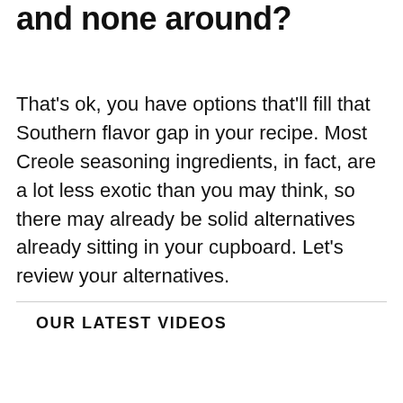and none around?
That's ok, you have options that'll fill that Southern flavor gap in your recipe. Most Creole seasoning ingredients, in fact, are a lot less exotic than you may think, so there may already be solid alternatives already sitting in your cupboard. Let's review your alternatives.
OUR LATEST VIDEOS
[Figure (other): Video player area showing a black loading ad bar and a gray video placeholder below it]